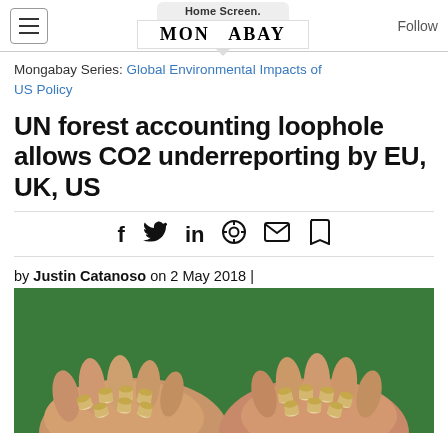Home Screen. MONGABAY Follow
Mongabay Series: Global Environmental Impacts of US Policy
UN forest accounting loophole allows CO2 underreporting by EU, UK, US
by Justin Catanoso on 2 May 2018 |
[Figure (photo): Two hands held open, cupping small cylindrical wood pellets, against a green background.]